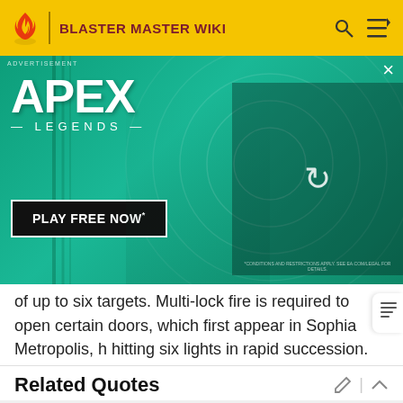BLASTER MASTER WIKI
[Figure (screenshot): Apex Legends advertisement banner with character holding sniper rifle, green background, 'PLAY FREE NOW' button]
of up to six targets. Multi-lock fire is required to open certain doors, which first appear in Sophia Metropolis, h hitting six lights in rapid succession.
Related Quotes
HOMING MISSILE: With this sub-weapon, you can fire a missile that will pursue its target until it makes contact.